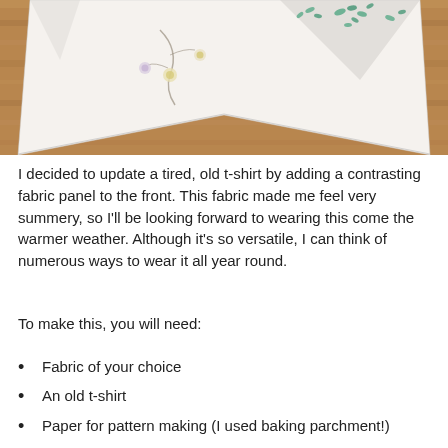[Figure (photo): Floral patterned fabric folded into a triangular/diamond shape, laid on a wooden floor. The fabric is white with floral and leaf prints in light blue, yellow, and grey.]
I decided to update a tired, old t-shirt by adding a contrasting fabric panel to the front. This fabric made me feel very summery, so I'll be looking forward to wearing this come the warmer weather. Although it's so versatile, I can think of numerous ways to wear it all year round.
To make this, you will need:
Fabric of your choice
An old t-shirt
Paper for pattern making (I used baking parchment!)